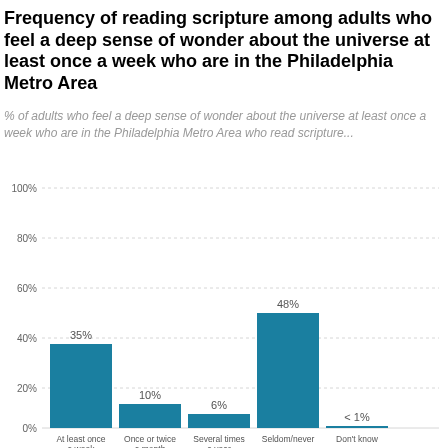Frequency of reading scripture among adults who feel a deep sense of wonder about the universe at least once a week who are in the Philadelphia Metro Area
% of adults who feel a deep sense of wonder about the universe at least once a week who are in the Philadelphia Metro Area who read scripture...
[Figure (bar-chart): Frequency of reading scripture]